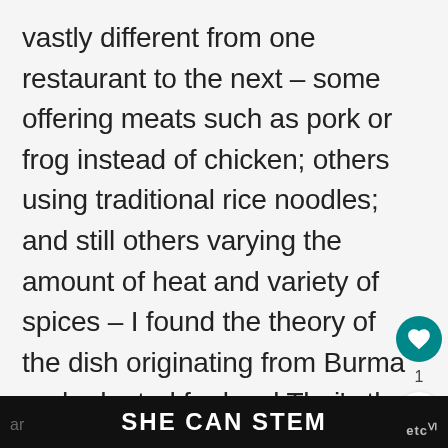vastly different from one restaurant to the next – some offering meats such as pork or frog instead of chicken; others using traditional rice noodles; and still others varying the amount of heat and variety of spices – I found the theory of the dish originating from Burma and adapted for local Thai's the most plausible explanation. You could order the dish from one place and find it nothing than a coconut curry soup and turn
[Figure (screenshot): UI overlay with heart/like button (teal circle with heart icon), count badge showing 1, and share button]
[Figure (infographic): What's Next panel showing thumbnail image and text 'Bo Sang Umbrella...']
SHE CAN STEM